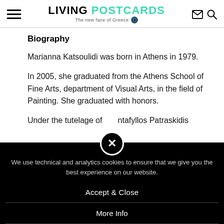LIVING POSTCARDS — The new face of Greece
Biography
Marianna Katsoulidi was born in Athens in 1979.
In 2005, she graduated from the Athens School of Fine Arts, department of Visual Arts, in the field of Painting. She graduated with honors.
Under the tutelage of Pantafyllos Patraskidis
We use technical and analytics cookies to ensure that we give you the best experience on our website.
Accept & Close
More Info